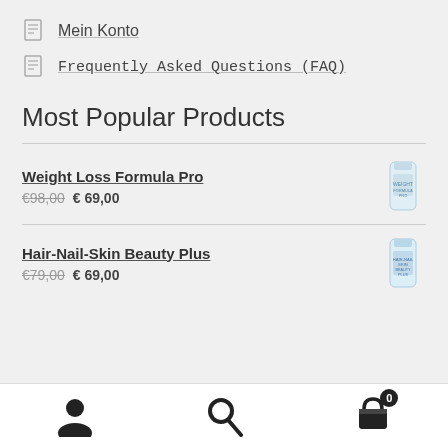Mein Konto
Frequently Asked Questions (FAQ)
Most Popular Products
Weight Loss Formula Pro
€98,00 € 69,00
Hair-Nail-Skin Beauty Plus
€79,00 € 69,00